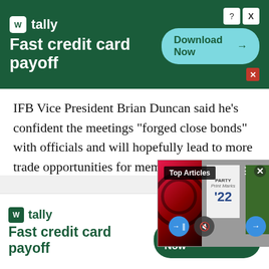[Figure (screenshot): Tally app advertisement banner - dark green background with Tally logo, 'Fast credit card payoff' tagline, and 'Download Now' button]
IFB Vice President Brian Duncan said he's confident the meetings “forged close bonds” with officials and will hopefully lead to more trade opportunities for members.
“The U.S. is a pr... Duncan said. “A... policy that boost... countries.”
[Figure (screenshot): Video player overlay with 'Top Articles' label showing jersey image and person in green jacket; play/pause, mute, and next buttons visible]
2 remaining...
[Figure (screenshot): Tally app advertisement banner - white background with green Tally logo, 'Fast credit card payoff' tagline, and dark green 'Download Now' button]